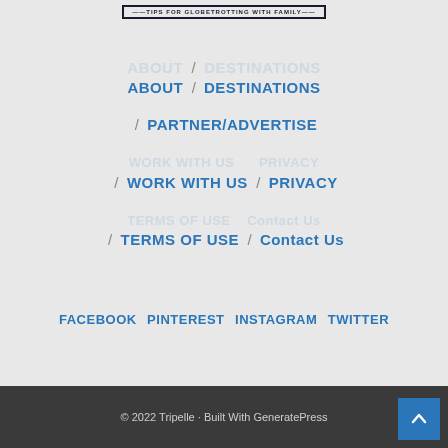[Figure (logo): Logo banner reading TIPS FOR GLOBETROTTING WITH FAMILY with horizontal lines]
ABOUT / DESTINATIONS
/ PARTNER/ADVERTISE
/ WORK WITH US / PRIVACY
/ TERMS OF USE / Contact Us
FACEBOOK  PINTEREST  INSTAGRAM  TWITTER
© 2022 Tripelle · Built With GeneratePress